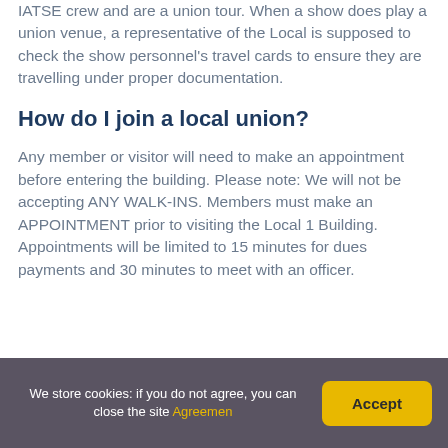IATSE crew and are a union tour. When a show does play a union venue, a representative of the Local is supposed to check the show personnel's travel cards to ensure they are travelling under proper documentation.
How do I join a local union?
Any member or visitor will need to make an appointment before entering the building. Please note: We will not be accepting ANY WALK-INS. Members must make an APPOINTMENT prior to visiting the Local 1 Building. Appointments will be limited to 15 minutes for dues payments and 30 minutes to meet with an officer.
We store cookies: if you do not agree, you can close the site Agreement